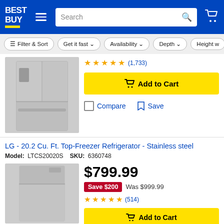[Figure (screenshot): Best Buy website header with logo, hamburger menu, search bar, and cart icon on blue background]
[Figure (screenshot): Filter bar with buttons: Filter & Sort, Get it fast, Availability, Depth, Height]
[Figure (photo): French door stainless steel refrigerator with ice/water dispenser (partial product listing)]
(1,733) star rating
Add to Cart button (first product)
Compare | Save
LG - 20.2 Cu. Ft. Top-Freezer Refrigerator - Stainless steel
Model: LTCS20020S  SKU: 6360748
[Figure (photo): Top-freezer stainless steel refrigerator (LG LTCS20020S)]
$799.99
Save $200  Was $999.99
(514) star rating
Add to Cart button (second product)